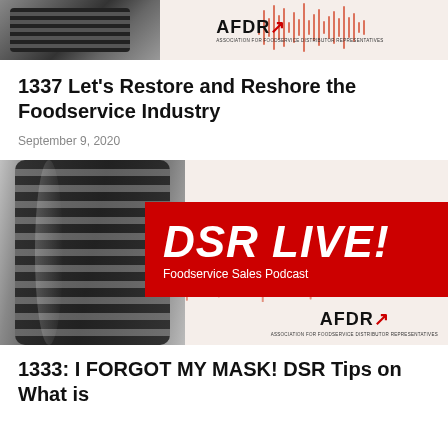[Figure (illustration): AFDR podcast banner image showing a microphone on the left and the AFDR logo with waveform on the right, on a light beige background]
1337 Let's Restore and Reshore the Foodservice Industry
September 9, 2020
[Figure (illustration): DSR LIVE Foodservice Sales Podcast banner with a large microphone on the left and a red banner reading 'DSR LIVE! Foodservice Sales Podcast' with AFDR logo]
1333: I FORGOT MY MASK! DSR Tips on What is